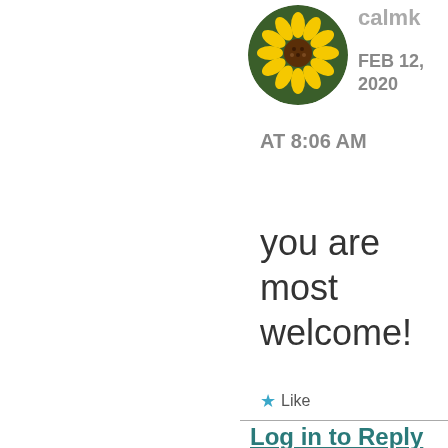[Figure (photo): Circular avatar image of a sunflower against a green background]
calmk
FEB 12, 2020
AT 8:06 AM
you are most welcome!
★ Like
Log in to Reply